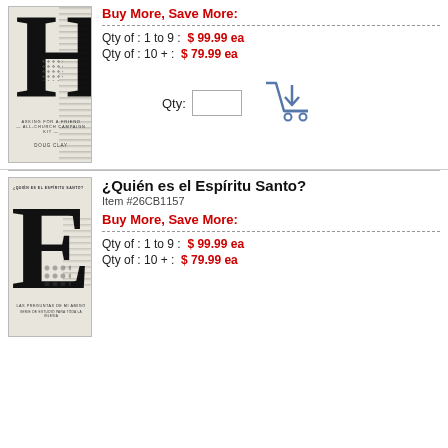[Figure (photo): Book cover: large black letter H with textured edge on cream background, 'Asking for a Friend All-Church Campaign Kit' by Doug Clay]
Buy More, Save More:
Qty of : 1 to 9 :  $ 99.99 ea
Qty of : 10 + :  $ 79.99 ea
Qty:
[Figure (photo): Book cover: large black letter E with textured edge on cream background, '¿Quién es el Espíritu Santo?' Las Preguntas de mi Amigo series]
¿Quién es el Espíritu Santo?
Item #26CB1157
Buy More, Save More:
Qty of : 1 to 9 :  $ 99.99 ea
Qty of : 10 + :  $ 79.99 ea